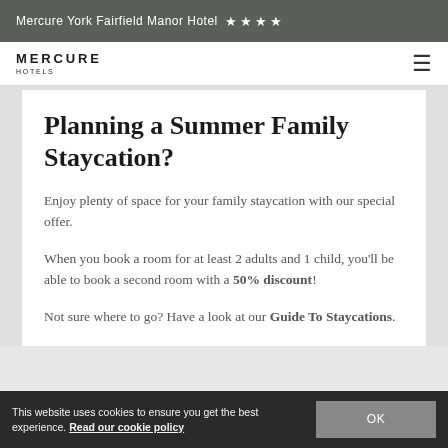Mercure York Fairfield Manor Hotel ★★★★
[Figure (logo): MERCURE HOTELS logo with hamburger menu icon]
Planning a Summer Family Staycation?
Enjoy plenty of space for your family staycation with our special offer.
When you book a room for at least 2 adults and 1 child, you'll be able to book a second room with a 50% discount!
Not sure where to go? Have a look at our Guide To Staycations.
This website uses cookies to ensure you get the best experience. Read our cookie policy  OK